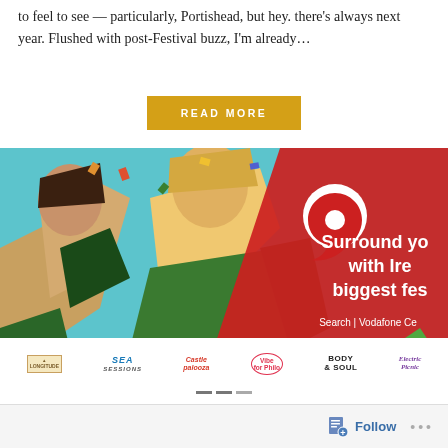to feel to see — particularly, Portishead, but hey. there's always next year. Flushed with post-Festival buzz, I'm already…
READ MORE
[Figure (illustration): Vodafone advertisement banner showing two festival-goers celebrating with confetti. Red diagonal section on right with text: 'Surround yo... with Ire... biggest fes...' and 'Search | Vodafone Ce...' with Vodafone logo. Bottom shows festival logos: Longitude, Sea Sessions, Castlepalooza, Vibe for Philo, Body & Soul, Electric Picnic. Text 'Pow...' visible bottom right. Left side shows partial text 'RE' and 'E'.]
Follow ...